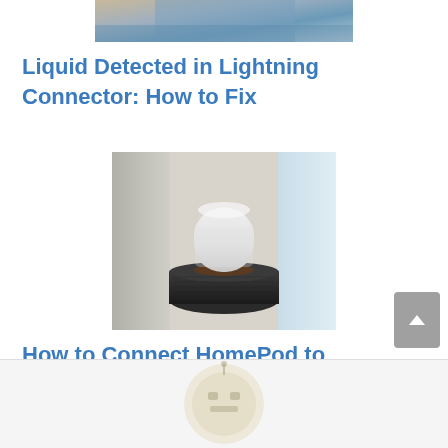[Figure (photo): Partial top image showing a Lightning connector/phone on a wooden surface with blue tones]
Liquid Detected in Lightning Connector: How to Fix
[Figure (photo): Apple HomePod sitting on a black cylindrical base/stand near a window with curtains]
How to Connect HomePod to Mac
[Figure (logo): Partially visible circular logo at the bottom of the page with light brown/tan coloring]